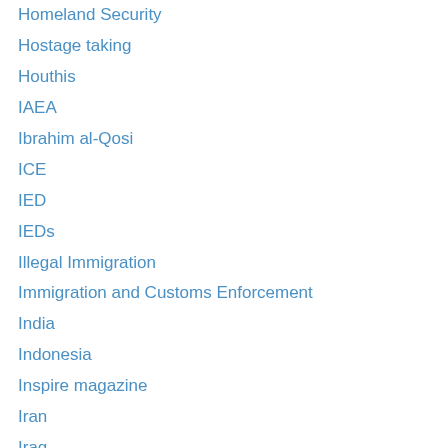Homeland Security
Hostage taking
Houthis
IAEA
Ibrahim al-Qosi
ICE
IED
IEDs
Illegal Immigration
Immigration and Customs Enforcement
India
Indonesia
Inspire magazine
Iran
Iraq
ISIS
Islam
Islamic Charities
Islamic Commandos
Islamic Slate